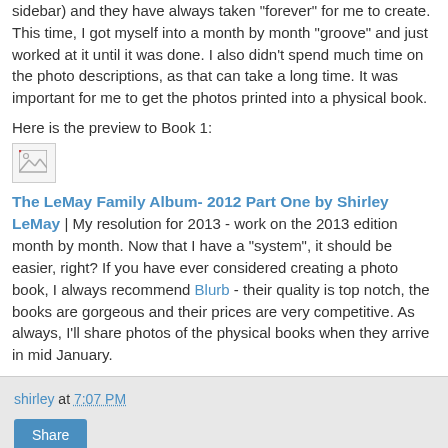sidebar) and they have always taken "forever" for me to create. This time, I got myself into a month by month "groove" and just worked at it until it was done. I also didn't spend much time on the photo descriptions, as that can take a long time. It was important for me to get the photos printed into a physical book.
Here is the preview to Book 1:
[Figure (photo): Broken image icon placeholder]
The LeMay Family Album- 2012 Part One by Shirley LeMay | My resolution for 2013 - work on the 2013 edition month by month. Now that I have a "system", it should be easier, right? If you have ever considered creating a photo book, I always recommend Blurb - their quality is top notch, the books are gorgeous and their prices are very competitive. As always, I'll share photos of the physical books when they arrive in mid January.
shirley at 7:07 PM Share